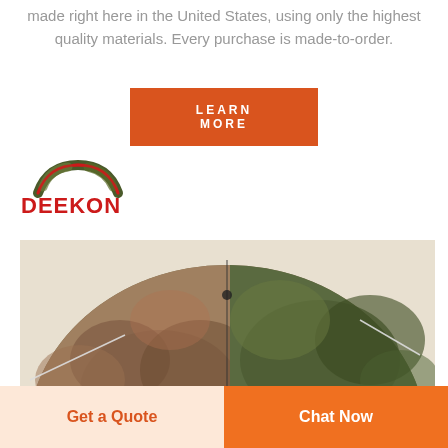made right here in the United States, using only the highest quality materials. Every purchase is made-to-order.
LEARN MORE
[Figure (logo): DEEKON brand logo with camouflage arc symbol above red bold text DEEKON]
[Figure (photo): A camouflage dome tent shown from outside, featuring mixed green and brown military-style camouflage pattern]
Get a Quote
Chat Now